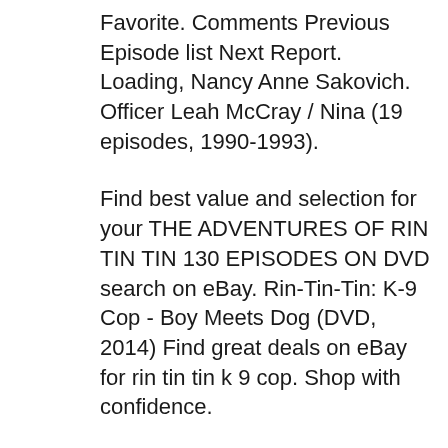Favorite. Comments Previous Episode list Next Report. Loading, Nancy Anne Sakovich. Officer Leah McCray / Nina (19 episodes, 1990-1993).
Find best value and selection for your THE ADVENTURES OF RIN TIN TIN 130 EPISODES ON DVD search on eBay. Rin-Tin-Tin: K-9 Cop - Boy Meets Dog (DVD, 2014) Find great deals on eBay for rin tin tin k 9 cop. Shop with confidence.
2008-06-30B B· Where can I download episodes of the tv show Rin Tin Tin: K-9 Cop? Follow . 1 answer 1. Report Abuse. Which episode featured a tour guide? Rin Tin Tin - K9 Cop (same episode as Chris Potter; also an episode with